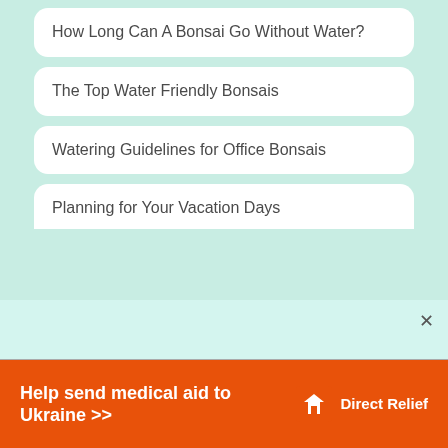How Long Can A Bonsai Go Without Water?
The Top Water Friendly Bonsais
Watering Guidelines for Office Bonsais
Planning for Your Vacation Days
This website uses cookies to ensure you get the best experience on our website.
Help send medical aid to Ukraine >>